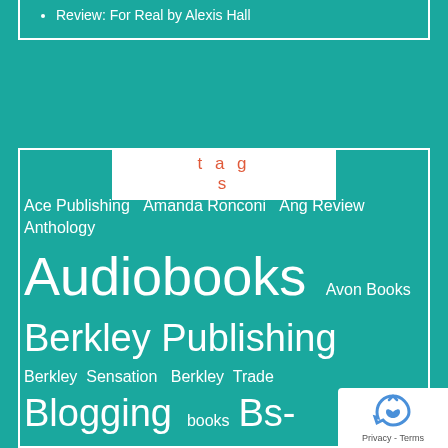Review: For Real by Alexis Hall
tags
Ace Publishing  Amanda Ronconi  Ang Review  Anthology  Audiobooks  Avon Books  Berkley Publishing  Berkley Sensation  Berkley Trade  Blogging  books  Bs-review  Carina Press  contest  Decadent Publishing  fitness  G-U Review  goals  holidays  Ilona Andrews  Jeffe Kennedy  Jennifer Estep  Jennifer Review  Jen Review  Katie Reus  Larissa Ione  Meljean Brook  NAL  Nalini  Nima Review  novella  Pocket Books  reading  Ri Publishing  self-published  Simon...